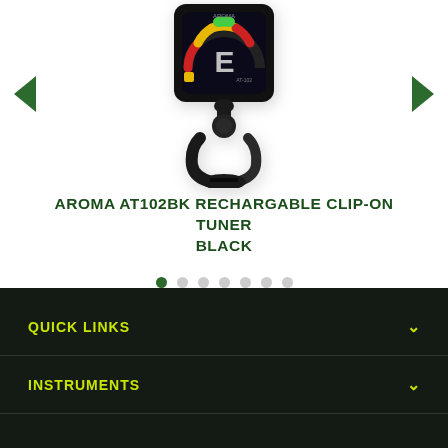[Figure (photo): Aroma AT102BK rechargeable clip-on tuner in black color, with a digital display showing the note E and a colorful tuning arc, attached to a black clip mechanism. Navigation arrows (left and right) and carousel dots are visible.]
AROMA AT102BK RECHARGABLE CLIP-ON TUNER BLACK
QUICK LINKS
INSTRUMENTS